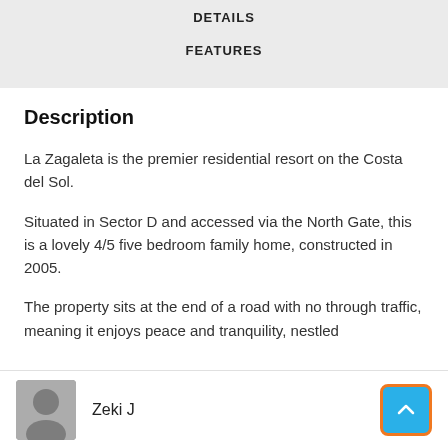DETAILS
FEATURES
Description
La Zagaleta is the premier residential resort on the Costa del Sol.
Situated in Sector D and accessed via the North Gate, this is a lovely 4/5 five bedroom family home, constructed in 2005.
The property sits at the end of a road with no through traffic, meaning it enjoys peace and tranquility, nestled
Zeki J